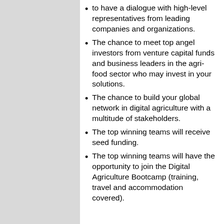to have a dialogue with high-level representatives from leading companies and organizations.
The chance to meet top angel investors from venture capital funds and business leaders in the agri-food sector who may invest in your solutions.
The chance to build your global network in digital agriculture with a multitude of stakeholders.
The top winning teams will receive seed funding.
The top winning teams will have the opportunity to join the Digital Agriculture Bootcamp (training, travel and accommodation covered).